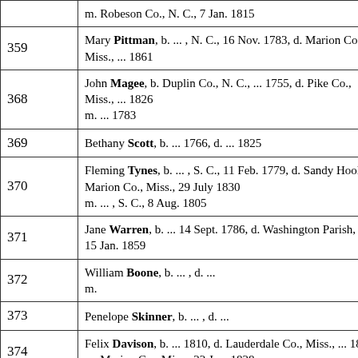| ID | Entry |
| --- | --- |
|  | m. Robeson Co., N. C., 7 Jan. 1815 |
| 359 | Mary Pittman, b. ... , N. C., 16 Nov. 1783, d. Marion Co., Miss., ... 1861 |
| 368 | John Magee, b. Duplin Co., N. C., ... 1755, d. Pike Co., Miss., ... 1826
m. ... 1783 |
| 369 | Bethany Scott, b. ... 1766, d. ... 1825 |
| 370 | Fleming Tynes, b. ... , S. C., 11 Feb. 1779, d. Sandy Hook, Marion Co., Miss., 29 July 1830
m. ... , S. C., 8 Aug. 1805 |
| 371 | Jane Warren, b. ... 14 Sept. 1786, d. Washington Parish, La., 15 Jan. 1859 |
| 372 | William Boone, b. ... , d. ...
m. |
| 373 | Penelope Skinner, b. ... , d. ... |
| 374 | Felix Davison, b. ... 1810, d. Lauderdale Co., Miss., ... 1836
m. Marion Co., Miss., 22 Jan. 1828 |
| 375 | Elizabeth Stovall, b. Giles Co., Tenn., 25 Nov. 1809, d. Lauderdale Co., Miss., [before 1859] |